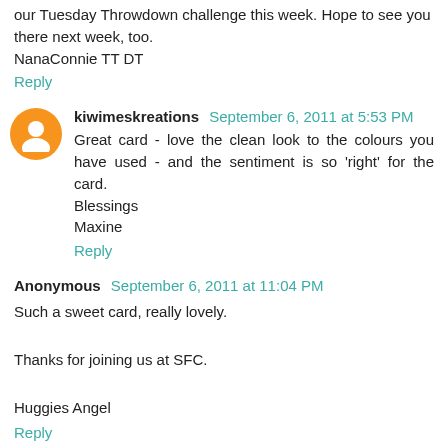our Tuesday Throwdown challenge this week. Hope to see you there next week, too.
NanaConnie TT DT
Reply
kiwimeskreations September 6, 2011 at 5:53 PM
Great card - love the clean look to the colours you have used - and the sentiment is so 'right' for the card.
Blessings
Maxine
Reply
Anonymous September 6, 2011 at 11:04 PM
Such a sweet card, really lovely.

Thanks for joining us at SFC.

Huggies Angel
Reply